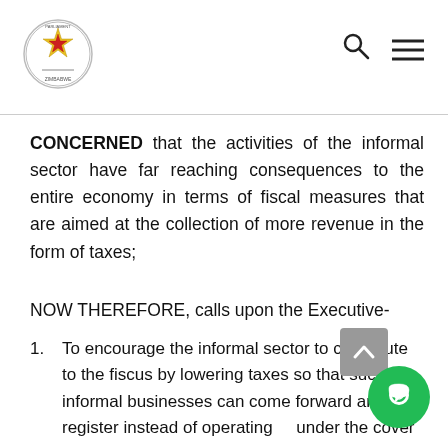Parliament of Zimbabwe header with logo, search icon, and menu icon
CONCERNED that the activities of the informal sector have far reaching consequences to the entire economy in terms of fiscal measures that are aimed at the collection of more revenue in the form of taxes;
NOW THEREFORE, calls upon the Executive-
1. To encourage the informal sector to contribute to the fiscus by lowering taxes so that such informal businesses can come forward and register instead of operating under the cover of the parallel market.